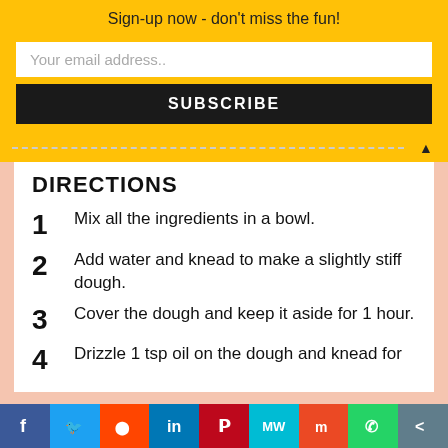Sign-up now - don't miss the fun!
Your email address..
SUBSCRIBE
DIRECTIONS
1  Mix all the ingredients in a bowl.
2  Add water and knead to make a slightly stiff dough.
3  Cover the dough and keep it aside for 1 hour.
4  Drizzle 1 tsp oil on the dough and knead for
f  Twitter  Reddit  in  Pinterest  MW  Mix  WhatsApp  Share